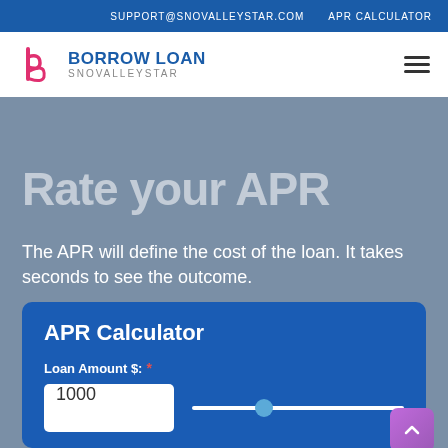SUPPORT@SNOVALLEYSTAR.COM   APR CALCULATOR
[Figure (logo): Borrow Loan SnoValleyStar logo with stylized letter b icon in pink/red]
Rate your APR
The APR will define the cost of the loan. It takes seconds to see the outcome.
APR Calculator
Loan Amount $: *
1000